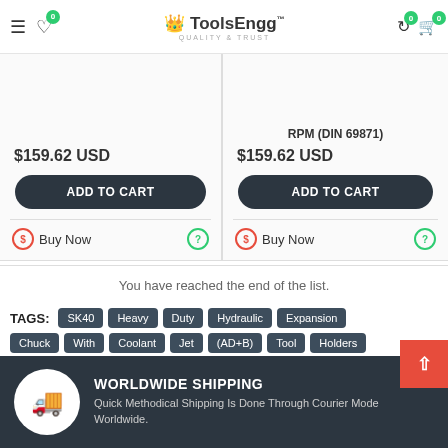ToolsEngg — QUALITY & TRUST navigation bar with hamburger menu, heart icon (0), back icon (0), cart icon (0)
$159.62 USD — ADD TO CART — Buy Now (left card)
RPM (DIN 69871) — $159.62 USD — ADD TO CART — Buy Now (right card)
You have reached the end of the list.
TAGS: SK40 Heavy Duty Hydraulic Expansion Chuck With Coolant Jet (AD+B) Tool Holders (DIN 69871) ISO 7388
WORLDWIDE SHIPPING — Quick Methodical Shipping Is Done Through Courier Mode Worldwide.